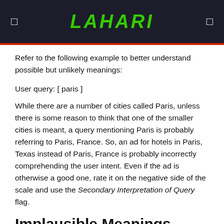LAHARI
Refer to the following example to better understand possible but unlikely meanings:
User query: [ paris ]
While there are a number of cities called Paris, unless there is some reason to think that one of the smaller cities is meant, a query mentioning Paris is probably referring to Paris, France. So, an ad for hotels in Paris, Texas instead of Paris, France is probably incorrectly comprehending the user intent. Even if the ad is otherwise a good one, rate it on the negative side of the scale and use the Secondary Interpretation of Query flag.
Implausible Meanings
If an ad or landing page assumes a meaning that is completely